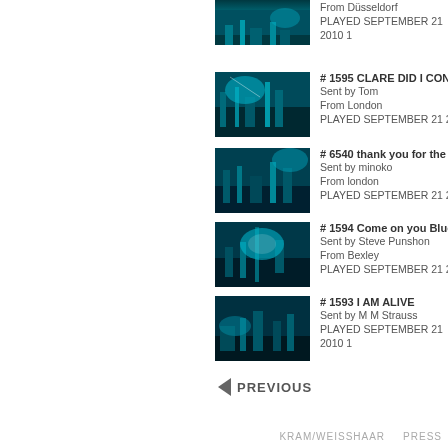From Düsseldorf
PLAYED SEPTEMBER 21 2010 1
# 1595 CLARE DID I CONVINCE
Sent by Tom
From London
PLAYED SEPTEMBER 21 2010 1
# 6540 thank you for the suppor
Sent by minoko
From london
PLAYED SEPTEMBER 21 2010 1
# 1594 Come on you Blues Che
Sent by Steve Punshon
From Bexley
PLAYED SEPTEMBER 21 2010 1
# 1593 I AM ALIVE
Sent by M M Strauss
PLAYED SEPTEMBER 21 2010 1
◄ PREVIOUS
KRAM/WEISSHAAR   PRESS